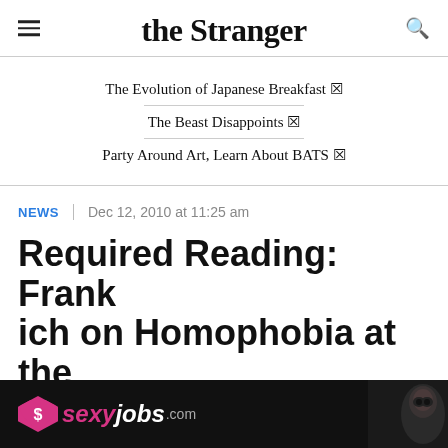the Stranger
The Evolution of Japanese Breakfast 🔗
The Beast Disappoints 🔗
Party Around Art, Learn About BATS 🔗
NEWS | Dec 12, 2010 at 11:25 am
Required Reading: Frank ich on Homophobia at the
[Figure (photo): Advertisement banner for sexyjobs.com featuring the site logo with a pink heart and dollar sign, pink and white stylized text, and a woman in a masquerade mask on the right side, on a dark background.]